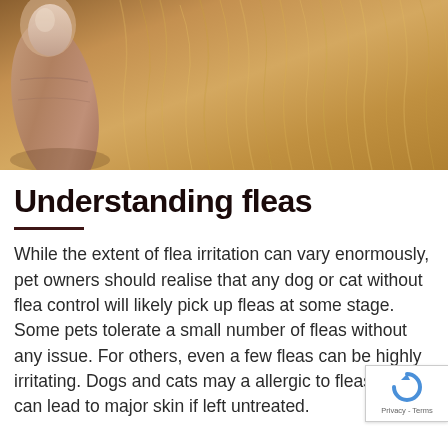[Figure (photo): Close-up photo of a human finger/thumb pressing into the fur of a light-colored dog or cat, checking for fleas]
Understanding fleas
While the extent of flea irritation can vary enormously, pet owners should realise that any dog or cat without flea control will likely pick up fleas at some stage. Some pets tolerate a small number of fleas without any issue. For others, even a few fleas can be highly irritating. Dogs and cats may a allergic to fleas, which can lead to major skin if left untreated.